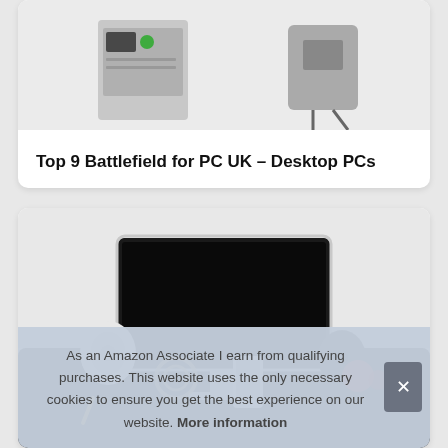[Figure (photo): Product listing card showing desktop PC computers/hardware images at the top]
Top 9 Battlefield for PC UK – Desktop PCs
[Figure (photo): iMac-style all-in-one desktop computer with speakers on a dark desk setup]
As an Amazon Associate I earn from qualifying purchases. This website uses the only necessary cookies to ensure you get the best experience on our website. More information